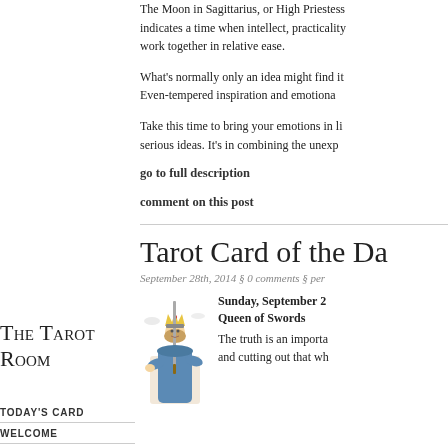The Moon in Sagittarius, or High Priestess indicates a time when intellect, practicality work together in relative ease.
What's normally only an idea might find it Even-tempered inspiration and emotiona
Take this time to bring your emotions in li serious ideas. It's in combining the unexp
go to full description
comment on this post
The Tarot Room
TODAY'S CARD
WELCOME
ABOUT GEORGIANNA
BOOK A READING
CONTACT
SOUL AND PERSONALITY
Tarot Card of the Da
September 28th, 2014 § 0 comments § per
Sunday, September 2
Queen of Swords
The truth is an importa and cutting out that wh